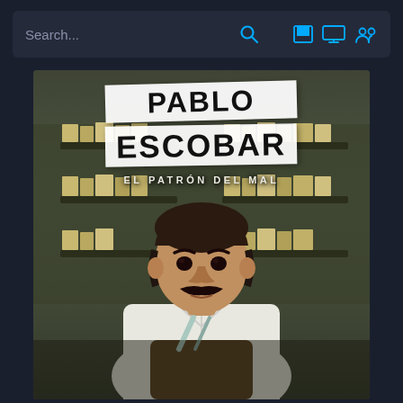[Figure (screenshot): Dark-themed app interface with search bar at top and movie poster for 'Pablo Escobar: El Patrón del Mal' below. The search bar shows 'Search...' placeholder text with a magnifying glass icon and three toolbar icons (save, screen, profile) in cyan/blue. The poster shows a man with a mustache seated in front of shelves stacked with bundles.]
Search...
PABLO ESCOBAR
EL PATRÓN DEL MAL